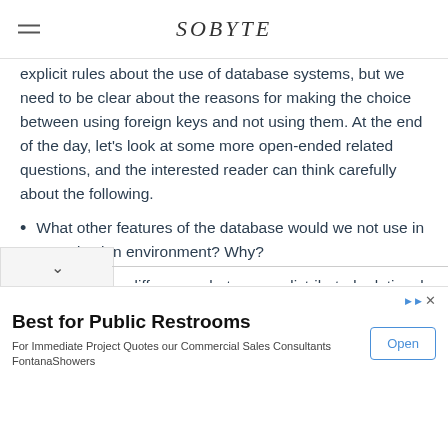SOBYTE
explicit rules about the use of database systems, but we need to be clear about the reasons for making the choice between using foreign keys and not using them. At the end of the day, let’s look at some more open-ended related questions, and the interested reader can think carefully about the following.
What other features of the database would we not use in a production environment? Why?
What are the differences between a distributed relational database and a traditional database such as MySQL?
[Figure (other): Advertisement banner: Best for Public Restrooms - For Immediate Project Quotes our Commercial Sales Consultants FontanaShowers, with an Open button]